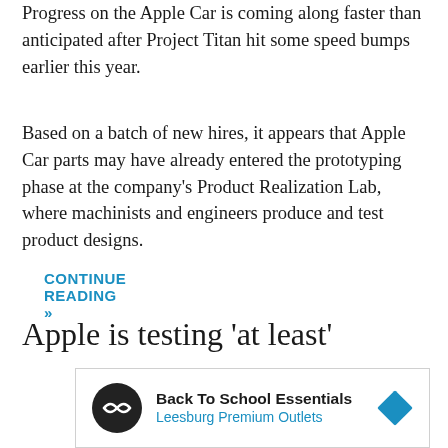Progress on the Apple Car is coming along faster than anticipated after Project Titan hit some speed bumps earlier this year.
Based on a batch of new hires, it appears that Apple Car parts may have already entered the prototyping phase at the company's Product Realization Lab, where machinists and engineers produce and test product designs.
CONTINUE READING »
Apple is testing 'at least'
[Figure (other): Advertisement banner: Back To School Essentials - Leesburg Premium Outlets, with circular logo icon and navigation arrow icon]